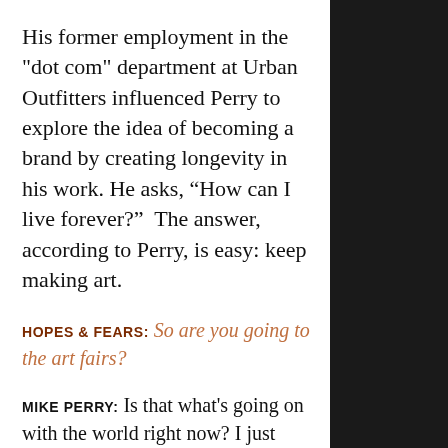His former employment in the "dot com" department at Urban Outfitters influenced Perry to explore the idea of becoming a brand by creating longevity in his work. He asks, “How can I live forever?”  The answer, according to Perry, is easy: keep making art.
HOPES & FEARS: So are you going to the art fairs?
MIKE PERRY: Is that what's going on with the world right now? I just hide in here and make stuff. I don't know what's going on outside. No, the claim is to...